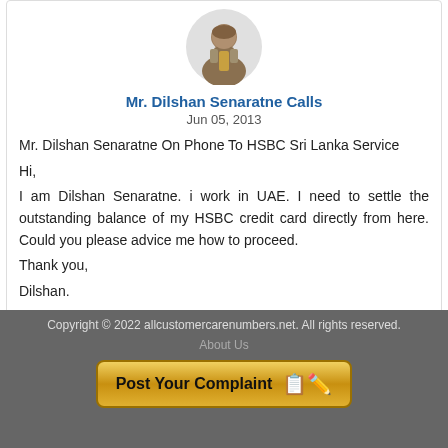[Figure (illustration): User avatar: a circular profile picture of a man in a suit with a tie]
Mr. Dilshan Senaratne Calls
Jun 05, 2013
Mr. Dilshan Senaratne On Phone To HSBC Sri Lanka Service
Hi,
I am Dilshan Senaratne. i work in UAE. I need to settle the outstanding balance of my HSBC credit card directly from here. Could you please advice me how to proceed.
Thank you,
Dilshan.
e mail : dilshans40@gmail.com
[Figure (illustration): Reply button - dark green rounded rectangle button with white bold text 'Reply']
Copyright © 2022 allcustomercarenumbers.net. All rights reserved.
About Us
Post Your Complaint